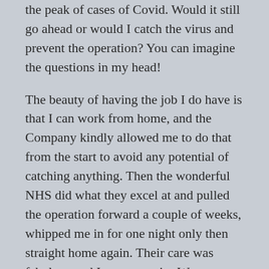the peak of cases of Covid. Would it still go ahead or would I catch the virus and prevent the operation? You can imagine the questions in my head!
The beauty of having the job I do have is that I can work from home, and the Company kindly allowed me to do that from the start to avoid any potential of catching anything. Then the wonderful NHS did what they excel at and pulled the operation forward a couple of weeks, whipped me in for one night only then straight home again. Their care was fabulous and I cannot praise West Cumberland Hospital enough. Despite ramping up for what was ahead, they carried on as normal and with absolute professionalism.
Since the operation I have been recuperating at home under lockdown conditions. My shiny new car sits outside the house waiting for me to take it for a drive, while of course I cannot due